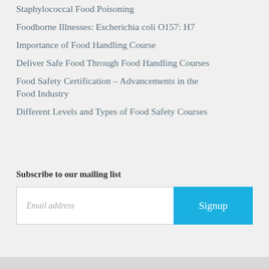Staphylococcal Food Poisoning
Foodborne Illnesses: Escherichia coli O157: H7
Importance of Food Handling Course
Deliver Safe Food Through Food Handling Courses
Food Safety Certification – Advancements in the Food Industry
Different Levels and Types of Food Safety Courses
Subscribe to our mailing list
Email address
Signup